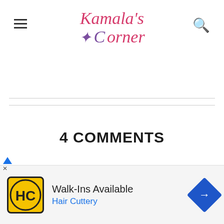Kamala's Corner
4 COMMENTS
kala
[Figure (infographic): Advertisement banner: HC Hair Cuttery Walk-Ins Available]